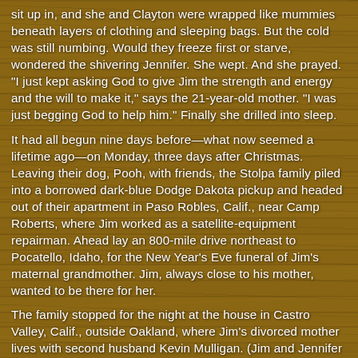sit up in, and she and Clayton were wrapped like mummies beneath layers of clothing and sleeping bags. But the cold was still numbing. Would they freeze first or starve, wondered the shivering Jennifer. She wept. And she prayed. "I just kept asking God to give Jim the strength and energy and the will to make it," says the 21-year-old mother. "I was just begging God to help him." Finally she drilled into sleep.
It had all begun nine days before—what now seemed a lifetime ago—on Monday, three days after Christmas. Leaving their dog, Pooh, with friends, the Stolpa family piled into a borrowed dark-blue Dodge Dakota pickup and headed out of their apartment in Paso Robles, Calif., near Camp Roberts, where Jim worked as a satellite-equipment repairman. Ahead lay an 800-mile drive northeast to Pocatello, Idaho, for the New Year's Eve funeral of Jim's maternal grandmother. Jim, always close to his mother, wanted to be there for her.
The family stopped for the night at the house in Castro Valley, Calif., outside Oakland, where Jim's divorced mother lives with second husband Kevin Mulligan. (Jim and Jennifer had met nearby at San Lorenzo High School, in first-aid class.) They found warm clothing at the house, but no